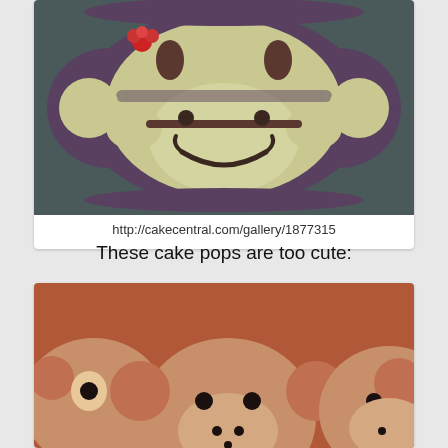[Figure (photo): A monkey face cake decorated with brown/purple frosting, showing a smiling monkey face with ears, eyes, and a small red flower accent. Top view of the cake on a plate.]
http://cakecentral.com/gallery/1877315
These cake pops are too cute:
[Figure (photo): Close-up photo of monkey-shaped cake pops with brown chocolate coating, black dot eyes and nostrils, and ear details, arranged together against a reddish-brown background.]